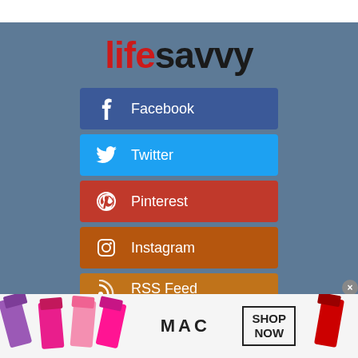[Figure (logo): Life Savvy logo with red 'life' and dark 'savvy' text and green dot over 'i']
[Figure (infographic): Social media follow buttons: Facebook (blue), Twitter (light blue), Pinterest (red), Instagram (brown/orange), RSS Feed (orange), all with icons and white text]
[Figure (photo): MAC Cosmetics advertisement banner with lipsticks and SHOP NOW button]